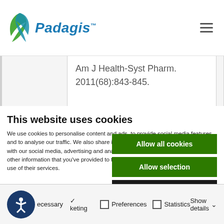[Figure (logo): Padagis logo with green leaf/wing icon and italic blue text 'Padagis' with trademark symbol]
Am J Health-Syst Pharm. 2011(68):843-845.
This website uses cookies
We use cookies to personalise content and ads, to provide social media features and to analyse our traffic. We also share information about your use of our site with our social media, advertising and analytics partners who may combine it with other information that you've provided to them or that they've collected from your use of their services.
Allow all cookies
Allow selection
Use necessary cookies only
ecessary   Preferences   Statistics   Show details